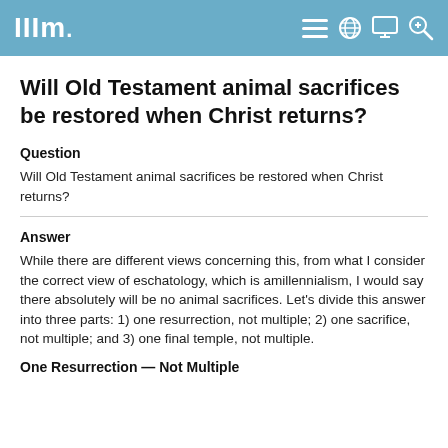IIIM.
Will Old Testament animal sacrifices be restored when Christ returns?
Question
Will Old Testament animal sacrifices be restored when Christ returns?
Answer
While there are different views concerning this, from what I consider the correct view of eschatology, which is amillennialism, I would say there absolutely will be no animal sacrifices. Let's divide this answer into three parts: 1) one resurrection, not multiple; 2) one sacrifice, not multiple; and 3) one final temple, not multiple.
One Resurrection — Not Multiple